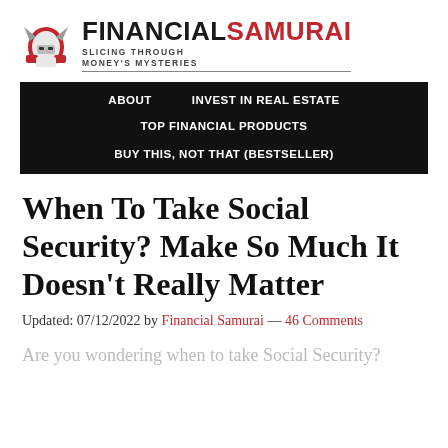[Figure (logo): Financial Samurai logo with samurai helmet icon and text 'FINANCIAL SAMURAI' with tagline 'SLICING THROUGH MONEY'S MYSTERIES']
ABOUT   INVEST IN REAL ESTATE   TOP FINANCIAL PRODUCTS   BUY THIS, NOT THAT (BESTSELLER)
When To Take Social Security? Make So Much It Doesn't Really Matter
Updated: 07/12/2022 by Financial Samurai — 46 Comments
Are you wondering when to take Social Security?